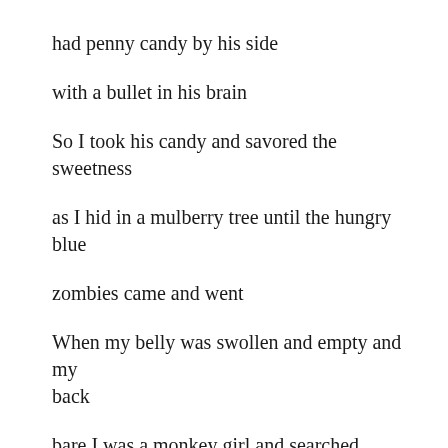had penny candy by his side
with a bullet in his brain
So I took his candy and savored the sweetness
as I hid in a mulberry tree until the hungry blue
zombies came and went
When my belly was swollen and empty and my back
bare I was a monkey girl and searched